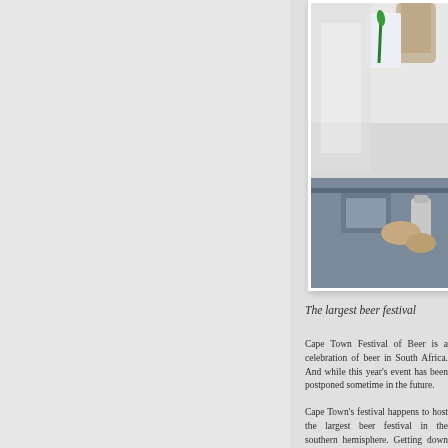[Figure (photo): Close-up photo of someone pouring or holding a beer glass at what appears to be a beer festival, with a green garnish visible in the glass.]
The largest beer festival
Cape Town Festival of Beer is a celebration of beer in South Africa. And while this year's event has been postponed sometime in the future.
Cape Town's festival happens to host the largest beer festival in the southern hemisphere. Getting down to the business of drinking and, like all combinations,